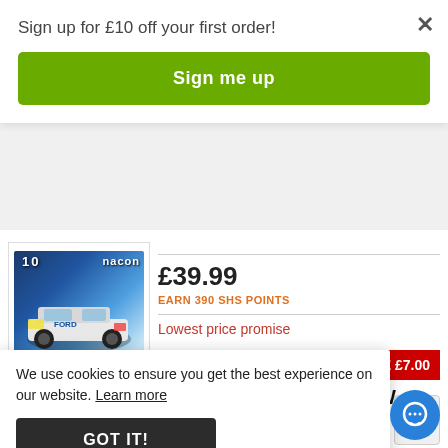Sign up for £10 off your first order!
Sign me up
£39.99
EARN 390 SHS POINTS
Lowest price promise
BUY NOW
DETAILS
We use cookies to ensure you get the best experience on our website. Learn more
GOT IT!
SAVE £7.00
BELOW
ONE/SERIES X)
[Figure (screenshot): WRC 10 racing game box art showing a Ford rally car on a blue background]
[Figure (screenshot): Subnautica Below Zero game box art]